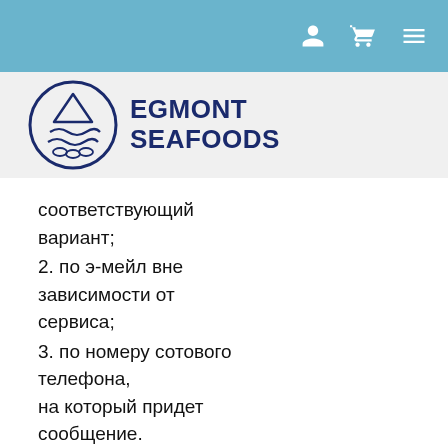[Figure (logo): Egmont Seafoods logo with circular fish emblem and bold dark blue text]
соответствующий вариант;
2. по э-мейл вне зависимости от сервиса;
3. по номеру сотового телефона, на который придет сообщение.
Пользователям 1xbet зеркало рабочее на сегодня прямо входhttp://cbs-